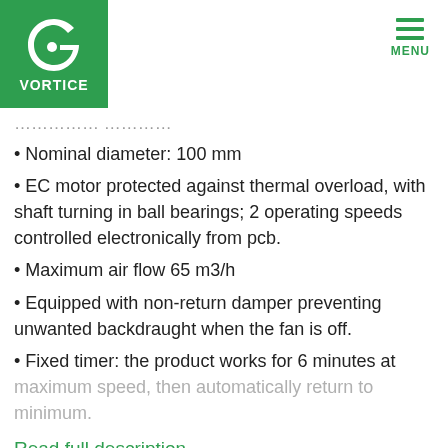Vortice — MENU
[partial text, faded/cut off at top]
Nominal diameter: 100 mm
EC motor protected against thermal overload, with shaft turning in ball bearings; 2 operating speeds controlled electronically from pcb.
Maximum air flow 65 m3/h
Equipped with non-return damper preventing unwanted backdraught when the fan is off.
Fixed timer: the product works for 6 minutes at maximum speed, then automatically return to minimum.
Read full description